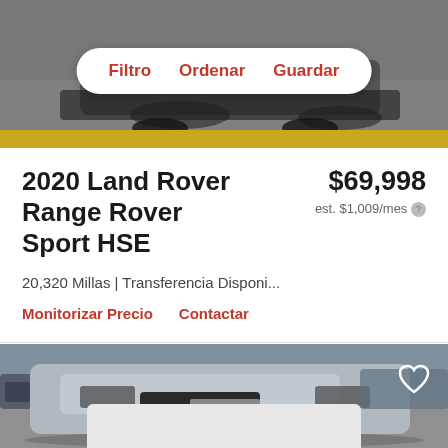[Figure (photo): Top partial view of a car in a dealership showroom, dark background, yellow bar at bottom]
Filtro   Ordenar   Guardar
2020 Land Rover Range Rover Sport HSE
$69,998
est. $1,009/mes
20,320 Millas | Transferencia Disponi...
Monitorizar Precio   Contactar
[Figure (photo): Front view of a silver 2020 Land Rover Range Rover Sport HSE in a parking lot with other cars in background]